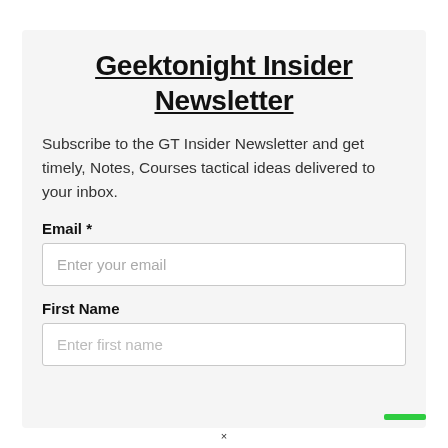Geektonight Insider Newsletter
Subscribe to the GT Insider Newsletter and get timely, Notes, Courses tactical ideas delivered to your inbox.
Email *
Enter your email
First Name
Enter first name